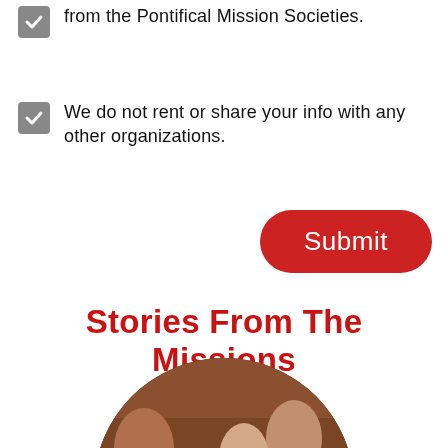from the Pontifical Mission Societies.
We do not rent or share your info with any other organizations.
Submit
Stories From The Missions
[Figure (photo): Circular photo of a smiling elderly priest/bishop wearing a black cap and white vestments, surrounded by people]